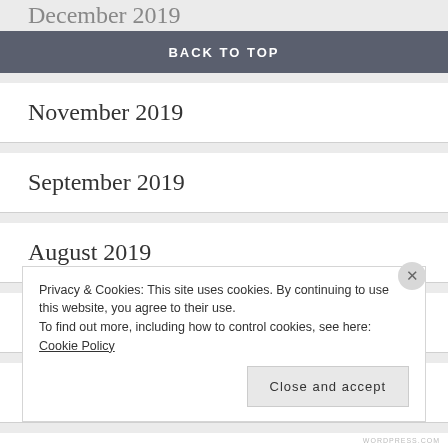December 2019
BACK TO TOP
November 2019
September 2019
August 2019
June 2019
March 2019
February 2019
Privacy & Cookies: This site uses cookies. By continuing to use this website, you agree to their use. To find out more, including how to control cookies, see here: Cookie Policy
Close and accept